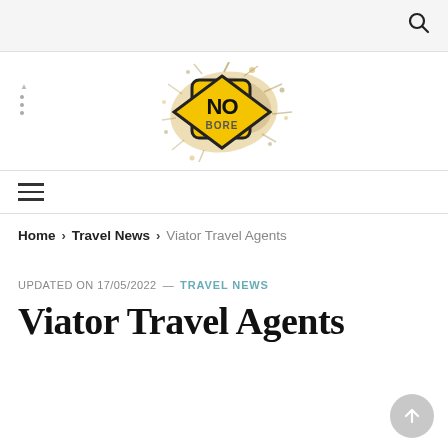Search icon (top bar)
[Figure (logo): NO BORE logo: a yellow diamond road sign with 'NO' in large black text and 'BORE' below, surrounded by an explosive splatter effect in yellow and brown/black]
Navigation hamburger menu (three horizontal lines)
Home > Travel News > Viator Travel Agents
UPDATED ON 17/05/2022 — TRAVEL NEWS
Viator Travel Agents